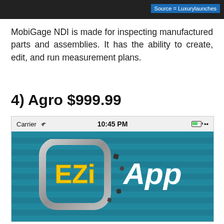[Figure (screenshot): Dark background image strip at the top with a blue label reading 'Source = Luxurylaunches' in the top right corner]
MobiGage NDI is made for inspecting manufactured parts and assemblies. It has the ability to create, edit, and run measurement plans.
4) Agro $999.99
[Figure (screenshot): iPhone screenshot showing the EZi App logo on a teal striped background. Status bar shows Carrier, WiFi icon, 10:45 PM, and battery indicator.]